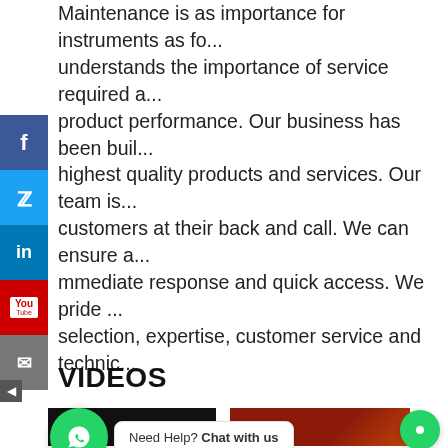Maintenance is as important for instruments as for... understands the importance of service required a... product performance. Our business has been bui... highest quality products and services. Our team i... customers at their back and call. We can ensure a... mmediate response and quick access. We pride ... selection, expertise, customer service and technic...
[Figure (infographic): Social media sidebar with Facebook (blue), Twitter (light blue), LinkedIn (dark blue), YouTube (red), and Email (grey) icon buttons stacked vertically on the left side of the page.]
VIDEOS
[Figure (screenshot): WhatsApp chat widget with green circle icon and speech bubble saying 'Need Help? Chat with us']
[Figure (photo): Two video thumbnails side by side at the bottom of the page: one black, one with reddish/fire tones.]